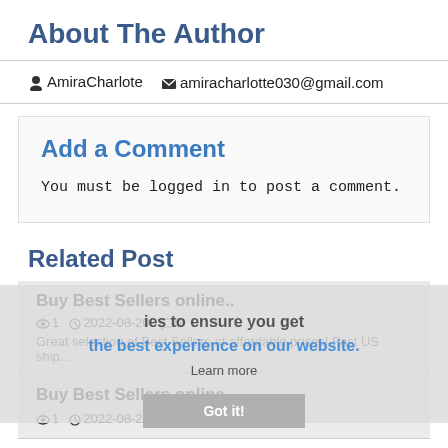About The Author
AmiraCharlote   amiracharlotte030@gmail.com
Add a Comment
You must be logged in to post a comment.
Related Post
Buy Best Sellers online..
1   2022-08-20   0
Great selection of Best Sellers at affordable prices! Fast US ship...
Buy Best Sellers online..
1   2022-08-20   0